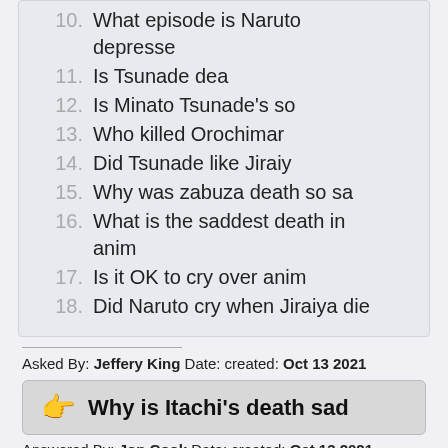10. What episode is Naruto depresse
11. Is Tsunade dea
12. Is Minato Tsunade's so
13. Who killed Orochimar
14. Did Tsunade like Jiraiy
15. Why was zabuza death so sa
16. What is the saddest death in anim
17. Is it OK to cry over anim
18. Did Naruto cry when Jiraiya die
Asked By: Jeffery King Date: created: Oct 13 2021
👉 Why is Itachi's death sad
Answered By: Jon Cook Date: created: Oct 13 2021